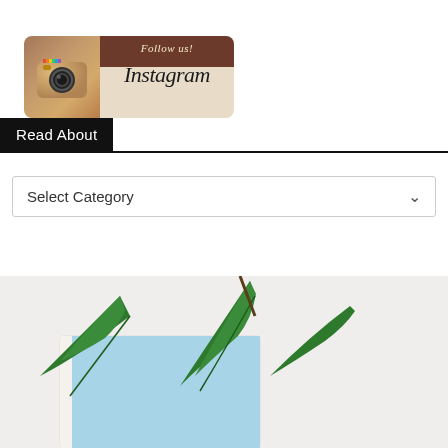[Figure (logo): Instagram 'Follow us!' banner with vintage camera icon on left and Instagram script text on right, brown top bar with 'Follow us!' in italic script, beige bottom with 'Instagram' in large italic text]
Read About
Select Category
[Figure (photo): Partial view of a book or product with palm tree leaves on a light blue background, shown at bottom of page on light gray background]